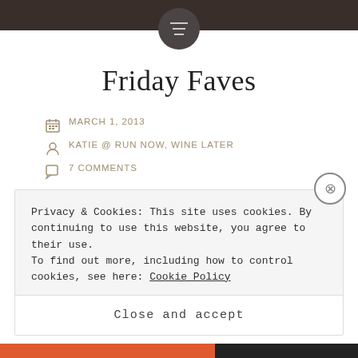Friday Faves blog header with menu icon
Friday Faves
MARCH 1, 2013
KATIE @ RUN NOW, WINE LATER
7 COMMENTS
1) First and foremost, I would like to give a standing ovation to DayQuil and NyQuil...Couldn't have gotten through this week without y'all.
Privacy & Cookies: This site uses cookies. By continuing to use this website, you agree to their use.
To find out more, including how to control cookies, see here: Cookie Policy
Close and accept